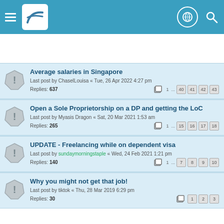Forum navigation header with logo and icons
Average salaries in Singapore
Last post by ChaselLouisa « Tue, 26 Apr 2022 4:27 pm
Replies: 637
Pages: 1 ... 40 41 42 43
Open a Sole Proprietorship on a DP and getting the LoC
Last post by Myasis Dragon « Sat, 20 Mar 2021 1:53 am
Replies: 265
Pages: 1 ... 15 16 17 18
UPDATE - Freelancing while on dependent visa
Last post by sundaymorningstaple « Wed, 24 Feb 2021 1:21 pm
Replies: 140
Pages: 1 ... 7 8 9 10
Why you might not get that job!
Last post by tiktok « Thu, 28 Mar 2019 6:29 pm
Replies: 30
Pages: 1 2 3